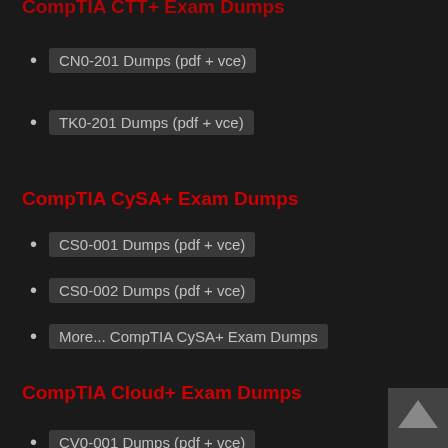CompTIA CTT+ Exam Dumps
CN0-201 Dumps (pdf + vce)
TK0-201 Dumps (pdf + vce)
CompTIA CySA+ Exam Dumps
CS0-001 Dumps (pdf + vce)
CS0-002 Dumps (pdf + vce)
More... CompTIA CySA+ Exam Dumps
CompTIA Cloud+ Exam Dumps
CV0-001 Dumps (pdf + vce)
CV0-002 Dumps (pdf + vce)
CV0-003 Dumps (pdf + vce)